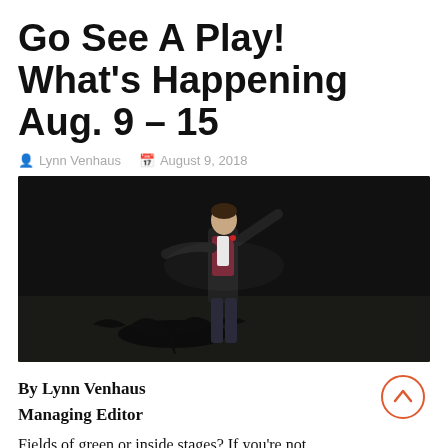Go See A Play! What's Happening Aug. 9 – 15
Lynn Venhaus   August 9, 2018
[Figure (photo): A performer on stage in formal attire with a dark suit jacket, red patterned vest, and white shirt, arms outstretched, with a bird shadow projected on the stage floor behind them.]
By Lynn Venhaus
Managing Editor
Fields of green or inside stages? If you're not